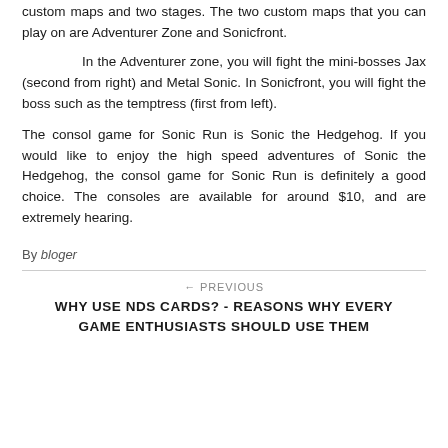custom maps and two stages. The two custom maps that you can play on are Adventurer Zone and Sonicfront.
In the Adventurer zone, you will fight the mini-bosses Jax (second from right) and Metal Sonic. In Sonicfront, you will fight the boss such as the temptress (first from left).
The consol game for Sonic Run is Sonic the Hedgehog. If you would like to enjoy the high speed adventures of Sonic the Hedgehog, the consol game for Sonic Run is definitely a good choice. The consoles are available for around $10, and are extremely hearing.
By bloger
← PREVIOUS
WHY USE NDS CARDS? - REASONS WHY EVERY GAME ENTHUSIASTS SHOULD USE THEM